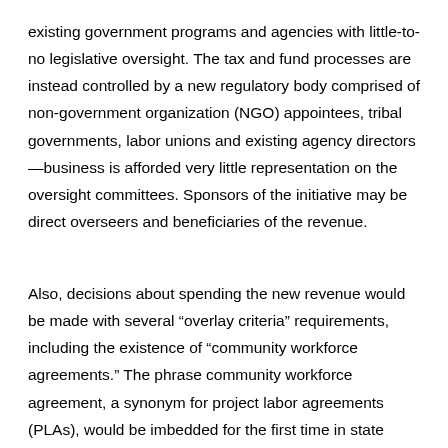existing government programs and agencies with little-to-no legislative oversight. The tax and fund processes are instead controlled by a new regulatory body comprised of non-government organization (NGO) appointees, tribal governments, labor unions and existing agency directors—business is afforded very little representation on the oversight committees. Sponsors of the initiative may be direct overseers and beneficiaries of the revenue.
Also, decisions about spending the new revenue would be made with several “overlay criteria” requirements, including the existence of “community workforce agreements.” The phrase community workforce agreement, a synonym for project labor agreements (PLAs), would be imbedded for the first time in state statues. AGC